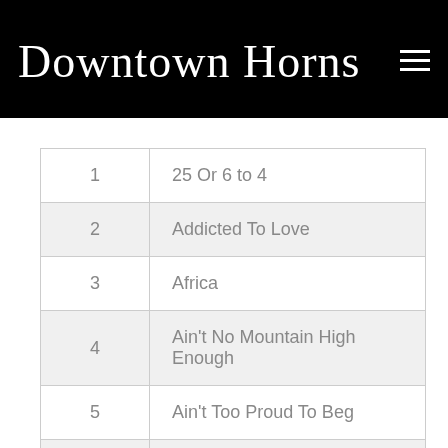Downtown Horns
| 1 | 25 Or 6 to 4 |
| 2 | Addicted To Love |
| 3 | Africa |
| 4 | Ain't No Mountain High Enough |
| 5 | Ain't Too Proud To Beg |
| 6 | All Night Long |
| 7 | Am I The Same Girl |